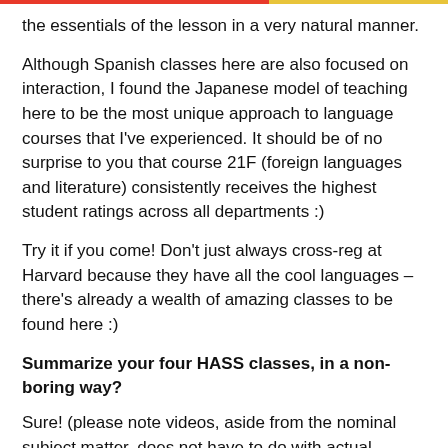the essentials of the lesson in a very natural manner.
Although Spanish classes here are also focused on interaction, I found the Japanese model of teaching here to be the most unique approach to language courses that I've experienced. It should be of no surprise to you that course 21F (foreign languages and literature) consistently receives the highest student ratings across all departments :)
Try it if you come! Don't just always cross-reg at Harvard because they have all the cool languages – there's already a wealth of amazing classes to be found here :)
Summarize your four HASS classes, in a non-boring way?
Sure! (please note videos, aside from the nominal subject matter, does not have to do with actual course content and are provided for your entertainment – the course description, however, is accurate) =p